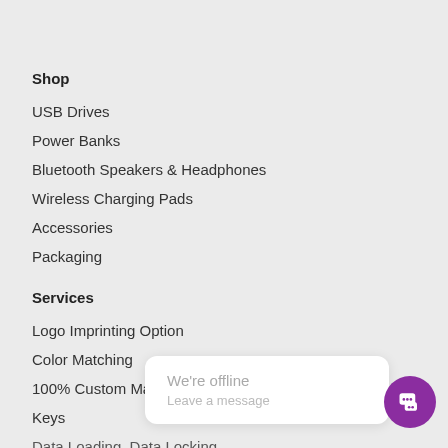Shop
USB Drives
Power Banks
Bluetooth Speakers & Headphones
Wireless Charging Pads
Accessories
Packaging
Services
Logo Imprinting Option
Color Matching
100% Custom Made USB Keys
Data Loading, Data Locking
[Figure (screenshot): Chat popup widget showing 'We're offline / Leave a message' with a purple chat button icon]